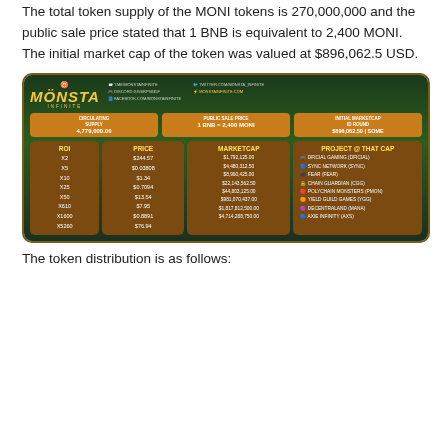Monsta Infinite gaming universe.
The total token supply of the MONI tokens is 270,000,000 and the public sale price stated that 1 BNB is equivalent to 2,400 MONI. The initial market cap of the token was valued at $896,062.5 USD.
[Figure (infographic): Monsta Infinite token infographic showing circulating supply of 4,779,000.00, public sale price 1 BNB = 2,400 MONI, initial marketcap $896,062.50, along with ROI/Price/Marketcap table and comparable projects.]
The token distribution is as follows: